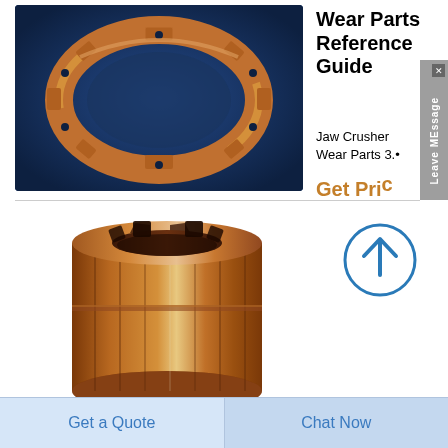[Figure (photo): Bronze/copper ring component (wear part) on dark blue background, viewed from above at an angle]
Wear Parts Reference Guide
Jaw Crusher Wear Parts 3.•
Get Pric
[Figure (photo): Cylindrical bronze/copper bushing or sleeve component, photographed against white background]
[Figure (illustration): Circular up-arrow icon (scroll to top button) with blue outline]
Get a Quote
Chat Now